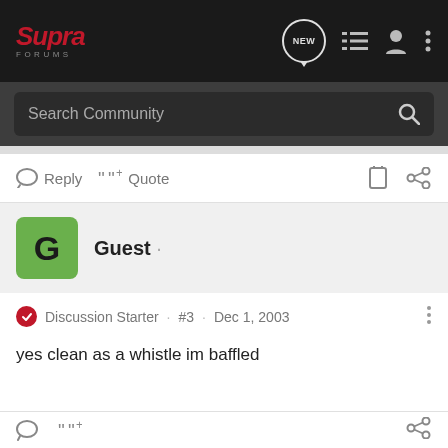Supra Forums - navigation bar with logo, NEW, list, user, and menu icons
Search Community
Reply  Quote
Guest ·
Discussion Starter · #3 · Dec 1, 2003
yes clean as a whistle im baffled